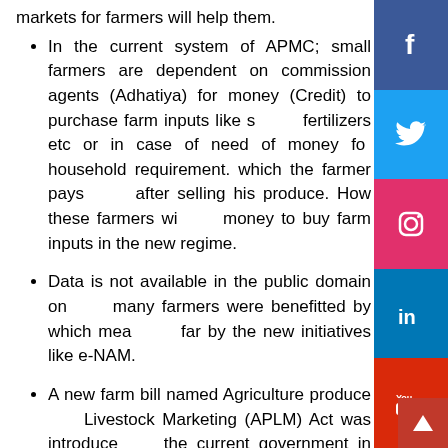In the current system of APMC; small farmers are dependent on commission agents (Adhatiya) for money (Credit) to purchase farm inputs like seeds, fertilizers etc or in case of need of money for household requirement. which the farmer pays back after selling his produce. How these farmers will get money to buy farm inputs in the new regime.
Data is not available in the public domain on how many farmers were benefitted by which means so far by the new initiatives like e-NAM.
A new farm bill named Agriculture produce Livestock Marketing (APLM) Act was introduced by the current government in 2017. This act is somewhat similar to The Farmers' Produce Trade and Commerce (Promotion and Facilitation) Act, 2020. APLM act was aimed to set up a wholesale